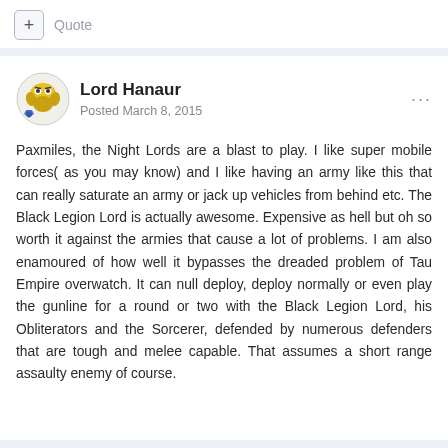+ Quote
Lord Hanaur
Posted March 8, 2015
Paxmiles, the Night Lords are a blast to play. I like super mobile forces( as you may know) and I like having an army like this that can really saturate an army or jack up vehicles from behind etc. The Black Legion Lord is actually awesome. Expensive as hell but oh so worth it against the armies that cause a lot of problems. I am also enamoured of how well it bypasses the dreaded problem of Tau Empire overwatch. It can null deploy, deploy normally or even play the gunline for a round or two with the Black Legion Lord, his Obliterators and the Sorcerer, defended by numerous defenders that are tough and melee capable. That assumes a short range assaulty enemy of course.